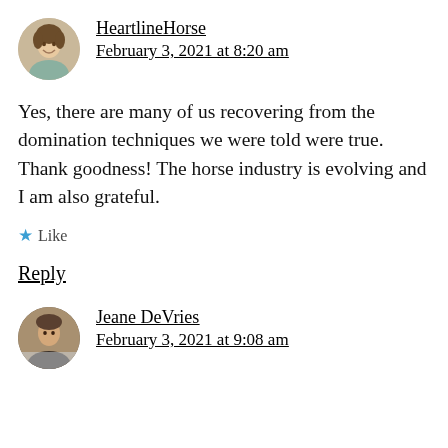[Figure (photo): Circular avatar photo of a smiling woman with brown hair outdoors]
HeartlineHorse
February 3, 2021 at 8:20 am
Yes, there are many of us recovering from the domination techniques we were told were true. Thank goodness! The horse industry is evolving and I am also grateful.
Like
Reply
[Figure (photo): Circular avatar photo of a person in winter outdoor setting]
Jeane DeVries
February 3, 2021 at 9:08 am